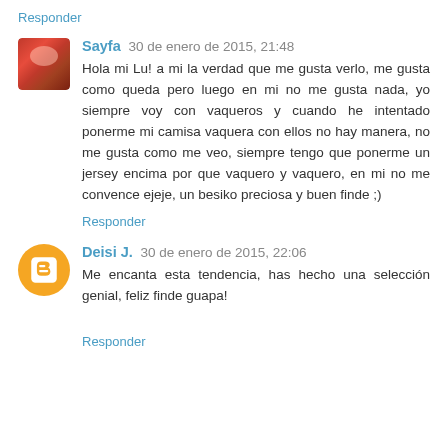Responder
Sayfa 30 de enero de 2015, 21:48
Hola mi Lu! a mi la verdad que me gusta verlo, me gusta como queda pero luego en mi no me gusta nada, yo siempre voy con vaqueros y cuando he intentado ponerme mi camisa vaquera con ellos no hay manera, no me gusta como me veo, siempre tengo que ponerme un jersey encima por que vaquero y vaquero, en mi no me convence ejeje, un besiko preciosa y buen finde ;)
Responder
Deisi J. 30 de enero de 2015, 22:06
Me encanta esta tendencia, has hecho una selección genial, feliz finde guapa!
Responder